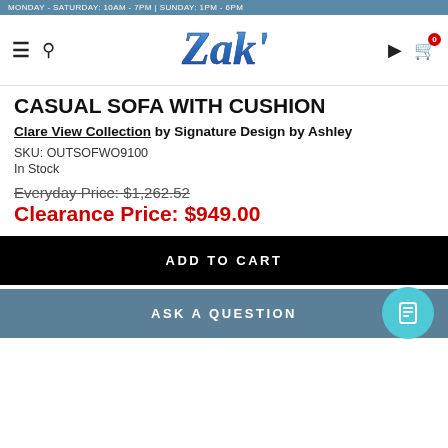MONDAY - SATURDAY: 10AM - 7PM | SUNDAY: 1PM - 6PM
[Figure (logo): Zak's furniture store logo — stylized blue italic script text reading 'Zak's']
CASUAL SOFA WITH CUSHION
Clare View Collection by Signature Design by Ashley
SKU: OUTSOFWO9100
In Stock
Everyday Price: $1,262.52
Clearance Price: $949.00
ADD TO CART
ASK A QUESTION